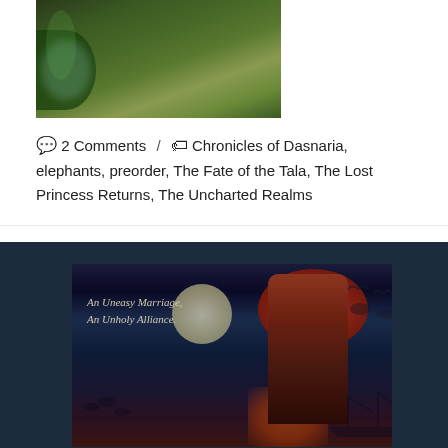[Figure (photo): Top portion of a forest/nature scene photo with green grass and foliage, partial view of a dark figure, mysterious misty/foggy atmosphere with greenish hues]
💬 2 Comments / 🏷 Chronicles of Dasnaria, elephants, preorder, The Fate of the Tala, The Lost Princess Returns, The Uncharted Realms
[Figure (photo): Fantasy book cover or promotional image showing a red-haired woman against a moonlit dark background with birds/ravens flying, text reads 'An Uneasy Marriage, An Unholy Alliance.' with fire glow and ship silhouette]